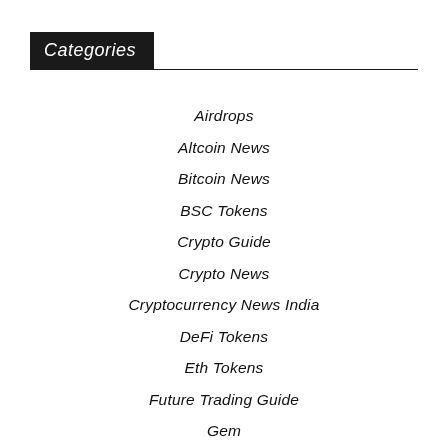Categories
Airdrops
Altcoin News
Bitcoin News
BSC Tokens
Crypto Guide
Crypto News
Cryptocurrency News India
DeFi Tokens
Eth Tokens
Future Trading Guide
Gem
Live Presale
Metaverse News